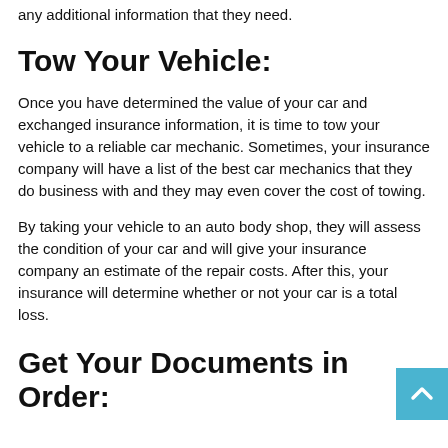any additional information that they need.
Tow Your Vehicle:
Once you have determined the value of your car and exchanged insurance information, it is time to tow your vehicle to a reliable car mechanic. Sometimes, your insurance company will have a list of the best car mechanics that they do business with and they may even cover the cost of towing.
By taking your vehicle to an auto body shop, they will assess the condition of your car and will give your insurance company an estimate of the repair costs. After this, your insurance will determine whether or not your car is a total loss.
Get Your Documents in Order: